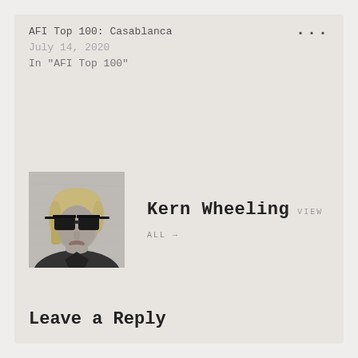AFI Top 100: Casablanca
July 14, 2020
In "AFI Top 100"
[Figure (photo): Black and white portrait photo of a person with blonde hair wearing dark sunglasses and a dark top, in front of a textured wall.]
Kern Wheeling  VIEW
ALL →
Leave a Reply